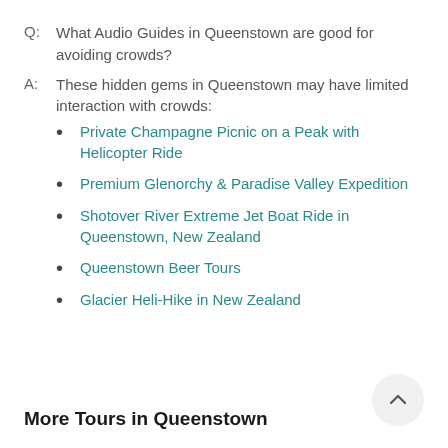Q:  What Audio Guides in Queenstown are good for avoiding crowds?
A:  These hidden gems in Queenstown may have limited interaction with crowds:
Private Champagne Picnic on a Peak with Helicopter Ride
Premium Glenorchy & Paradise Valley Expedition
Shotover River Extreme Jet Boat Ride in Queenstown, New Zealand
Queenstown Beer Tours
Glacier Heli-Hike in New Zealand
More Tours in Queenstown